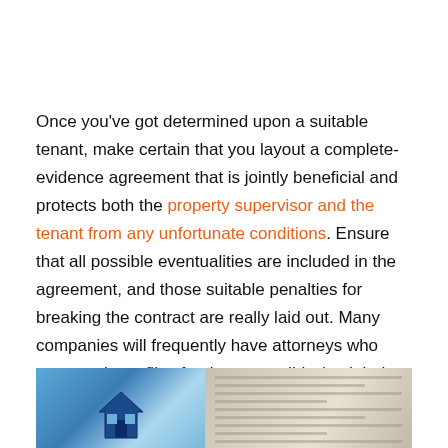Once you've got determined upon a suitable tenant, make certain that you layout a complete-evidence agreement that is jointly beneficial and protects both the property supervisor and the tenant from any unfortunate conditions. Ensure that all possible eventualities are included in the agreement, and those suitable penalties for breaking the contract are really laid out. Many companies will frequently have attorneys who prepare those files for them; possibly, it might be an awesome idea to depart this part as much as a 3rd celebration if you no longer have sufficient prison to enjoy.
[Figure (photo): Partial photo showing a blue house model on the left side and a document/contract paper on the right side, cropped at the bottom of the page.]